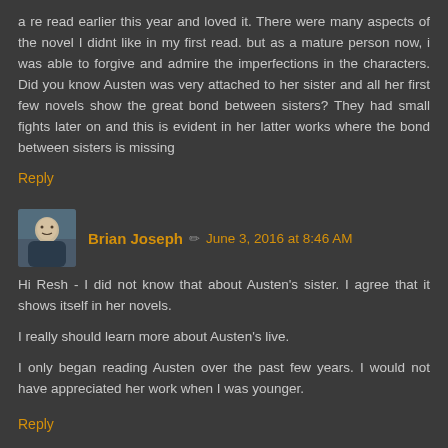a re read earlier this year and loved it. There were many aspects of the novel I didnt like in my first read. but as a mature person now, i was able to forgive and admire the imperfections in the characters. Did you know Austen was very attached to her sister and all her first few novels show the great bond between sisters? They had small fights later on and this is evident in her latter works where the bond between sisters is missing
Reply
Brian Joseph  ✏  June 3, 2016 at 8:46 AM
Hi Resh - I did not know that about Austen's sister. I agree that it shows itself in her novels.
I really should learn more about Austen's live.
I only began reading Austen over the past few years. I would not have appreciated her work when I was younger.
Reply